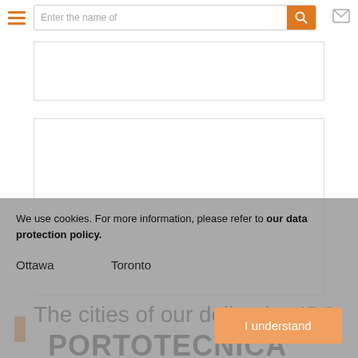[Figure (screenshot): Navigation bar with hamburger menu (orange lines), search input field with text 'Enter the name of', orange search button with magnifier icon, and mail icon on the right]
[Figure (screenshot): White rectangular content placeholder box 1]
[Figure (screenshot): White rectangular content placeholder box 2]
The cities of our deliveries IPC PORTOTECNICA
We use cookies. For more information, please refer to our data protection policy.
Ottawa    Toronto
I understand